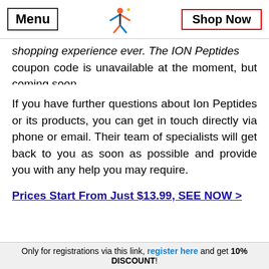Menu | [logo] | Shop Now
shopping experience ever. The ION Peptides coupon code is unavailable at the moment, but coming soon.
If you have further questions about Ion Peptides or its products, you can get in touch directly via phone or email. Their team of specialists will get back to you as soon as possible and provide you with any help you may require.
Prices Start From Just $13.99, SEE NOW >
Only for registrations via this link, register here and get 10% DISCOUNT!